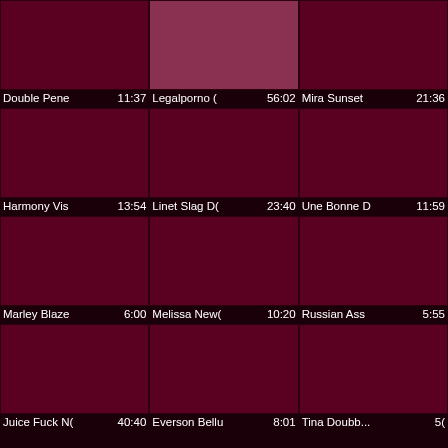[Figure (screenshot): Video thumbnail grid with 12 video entries each showing a dark maroon thumbnail, title, and duration]
Double Pene 11:37
Legalporno ( 56:02
Mira Sunset 21:36
Harmony Vis 13:54
Linet Slag D( 23:40
Une Bonne D 11:59
Marley Blaze 6:00
Melissa New( 10:20
Russian Ass 5:55
Juice Fuck N( 40:40
Everson Bella 8:01
Tina Doubb... 5(